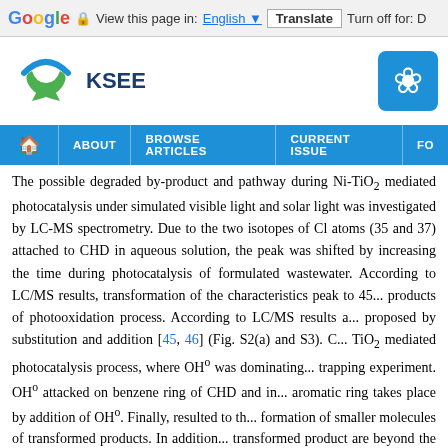Google Translate bar — View this page in: English [▼] | Translate | Turn off for: D
[Figure (logo): KSEE journal logo with circular green hands icon and text KSEE, plus a blue icon on the right]
[Figure (screenshot): Navigation bar with Home icon, ABOUT, BROWSE ARTICLES, CURRENT ISSUE, FO...]
The possible degraded by-product and pathway during Ni-TiO2 mediated photocatalysis under simulated visible light and solar light was investigated by LC-MS spectrometry. Due to the two isotopes of Cl atoms (35 and 37) attached to CHD in aqueous solution, the peak was shifted by increasing the time during photocatalysis of formulated wastewater. According to LC/MS results, transformation of the characteristics peak to 45... products of photooxidation process. According to LC/MS results a... proposed by substitution and addition [45, 46] (Fig. S2(a) and S3). C... TiO2 mediated photocatalysis process, where OHo was dominating... trapping experiment. OHo attacked on benzene ring of CHD and in... aromatic ring takes place by addition of OHo. Finally, resulted to th... formation of smaller molecules of transformed products. In additio... transformed product are beyond the scope of study.